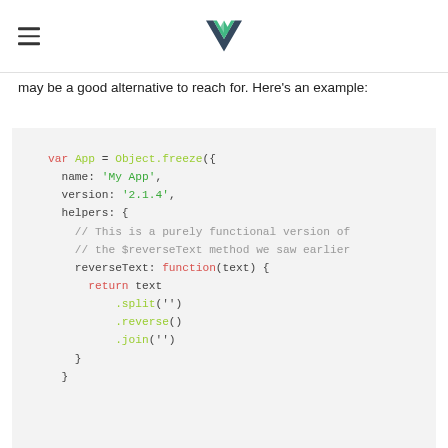[hamburger menu] [Vue.js logo]
may be a good alternative to reach for. Here's an example:
[Figure (screenshot): Code block showing JavaScript with var App = Object.freeze({ name: 'My App', version: '2.1.4', helpers: { // This is a purely functional version of // the $reverseText method we saw earlier reverseText: function(text) { return text .split('') .reverse() .join('') } } }]